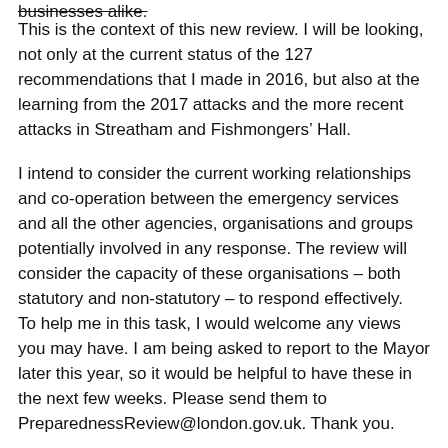businesses alike.
This is the context of this new review. I will be looking, not only at the current status of the 127 recommendations that I made in 2016, but also at the learning from the 2017 attacks and the more recent attacks in Streatham and Fishmongers’ Hall.
I intend to consider the current working relationships and co-operation between the emergency services and all the other agencies, organisations and groups potentially involved in any response. The review will consider the capacity of these organisations – both statutory and non-statutory – to respond effectively.
To help me in this task, I would welcome any views you may have. I am being asked to report to the Mayor later this year, so it would be helpful to have these in the next few weeks. Please send them to PreparednessReview@london.gov.uk. Thank you.